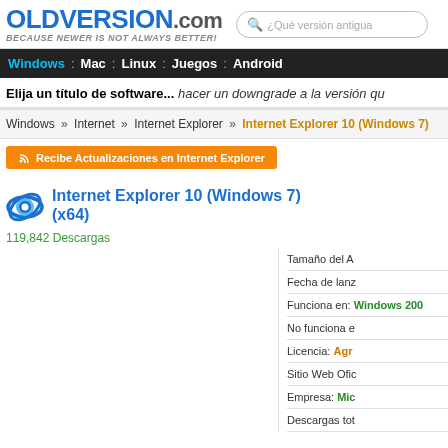OLDVERSION.com — BECAUSE NEWER IS NOT ALWAYS BETTER!
¿Qué versión antigua
Windows : Mac : Linux : Juegos : Android
Elija un título de software... hacer un downgrade a la versión qu
Windows » Internet » Internet Explorer » Internet Explorer 10 (Windows 7)
Recibe Actualizaciones en Internet Explorer
Internet Explorer 10 (Windows 7) (x64)
119,842 Descargas
Tamaño del A
Fecha de lanz
Funciona en: Windows 200
No funciona e
Licencia: Agr
Sitio Web Ofic
Empresa: Mic
Descargas tot